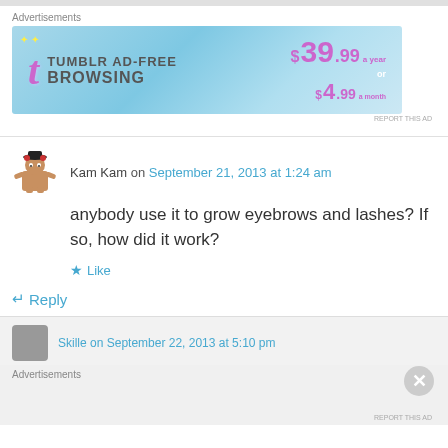[Figure (screenshot): Tumblr AD-FREE BROWSING advertisement banner, $39.99 a year or $4.99 a month, blue gradient background]
Advertisements
REPORT THIS AD
Kam Kam on September 21, 2013 at 1:24 am
anybody use it to grow eyebrows and lashes? If so, how did it work?
Like
Reply
Skille on September 22, 2013 at 5:10 pm
Advertisements